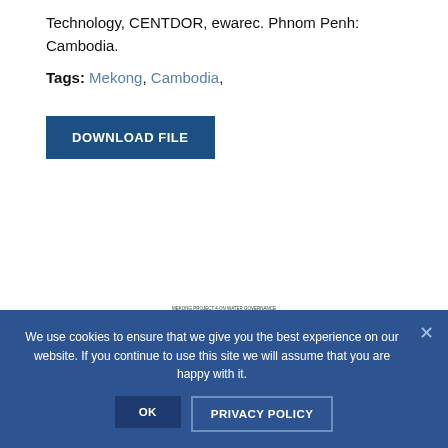Technology, CENTDOR, ewarec. Phnom Penh: Cambodia.
Tags: Mekong, Cambodia,
[Figure (other): DOWNLOAD FILE button — a dark blue rectangular button with white uppercase text]
[Figure (other): Small thumbnail preview of a document titled MEKONG PROJECT 4 ON WATER GOVERNANCE, Challenge Program for Water and Food Mekong, with INSTITUTIONAL ARRANGEMENTS text visible]
We use cookies to ensure that we give you the best experience on our website. If you continue to use this site we will assume that you are happy with it.
OK
PRIVACY POLICY